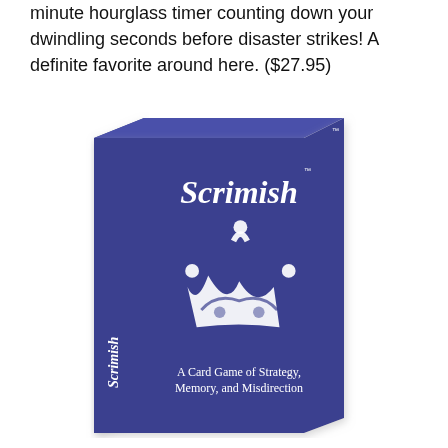minute hourglass timer counting down your dwindling seconds before disaster strikes! A definite favorite around here. ($27.95)
[Figure (photo): A blue card game box for 'Scrimish - A Card Game of Strategy, Memory, and Misdirection'. The box shows the game name in white serif font, a white crown logo, and the subtitle. The spine also reads 'Scrimish'.]